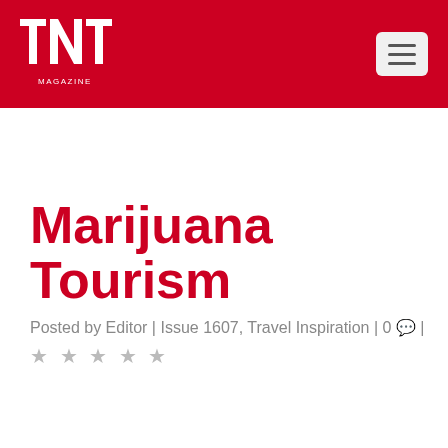TNT Magazine
Marijuana Tourism
Posted by Editor | Issue 1607, Travel Inspiration | 0 💬 |
★ ★ ★ ★ ★